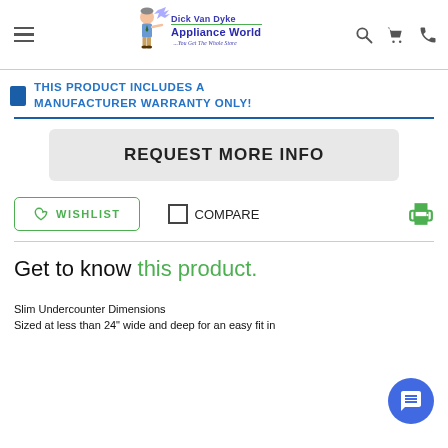[Figure (logo): Dick Van Dyke Appliance World logo with cartoon character and text '...You Get The Whole Store']
THIS PRODUCT INCLUDES A MANUFACTURER WARRANTY ONLY!
REQUEST MORE INFO
WISHLIST
COMPARE
Get to know this product.
Slim Undercounter Dimensions
Sized at less than 24" wide and deep for an easy fit in